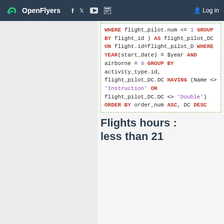OpenFlyers | Log in
[Figure (screenshot): SQL code block with syntax highlighting showing WHERE clause, GROUP BY, HAVING, ORDER BY statements]
Flights hours : less than 21